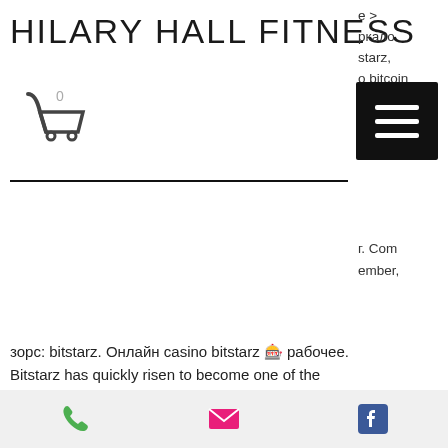HILARY HALL FITNESS
e &gt; ркало starz, о bitcoin ых очее бонусы,
0 (cart)
г. Com ember,
зорс: bitstarz. Онлайн casino bitstarz 🎰 рабочее. Bitstarz has quickly risen to become one of the most popular online casinos in the world. Find out why in this extensive review. Клиенты казино могут безопасно использовать зеркала bitstarz casino, если ссылка на них получена из надежных и безопасных. Casino fresh casino зеркало заработало репутацию
phone | email | facebook